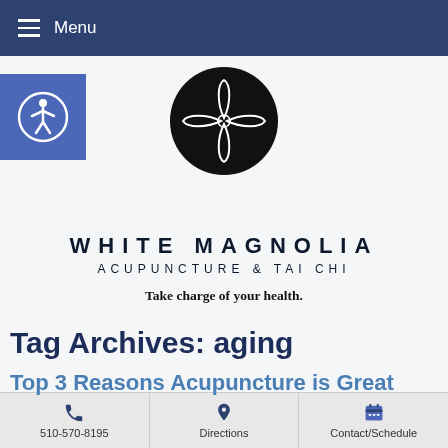Menu
[Figure (logo): Accessibility icon button (blue square with person in circle), and White Magnolia Acupuncture & Tai Chi logo (black circle with four-petal flower design)]
WHITE MAGNOLIA ACUPUNCTURE & TAI CHI
Take charge of your health.
Tag Archives: aging
Top 3 Reasons Acupuncture is Great
510-570-8195  Directions  Contact/Schedule